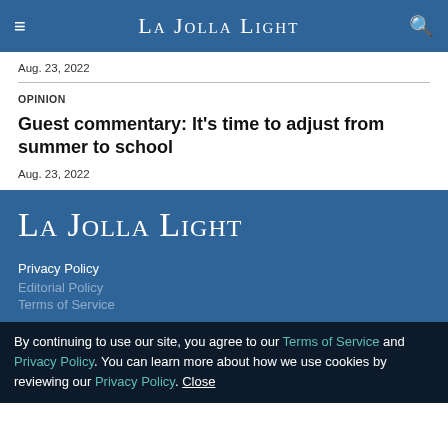La Jolla Light
Aug. 23, 2022
OPINION
Guest commentary: It's time to adjust from summer to school
Aug. 23, 2022
[Figure (logo): La Jolla Light logo in white serif font on blue background]
Privacy Policy
Editorial Policy
Terms of Service
By continuing to use our site, you agree to our Terms of Service and Privacy Policy. You can learn more about how we use cookies by reviewing our Privacy Policy. Close